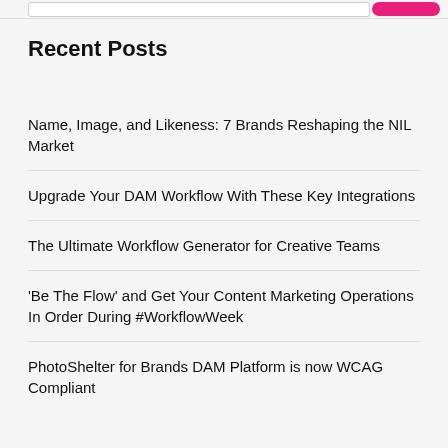Recent Posts
Name, Image, and Likeness: 7 Brands Reshaping the NIL Market
Upgrade Your DAM Workflow With These Key Integrations
The Ultimate Workflow Generator for Creative Teams
'Be The Flow' and Get Your Content Marketing Operations In Order During #WorkflowWeek
PhotoShelter for Brands DAM Platform is now WCAG Compliant